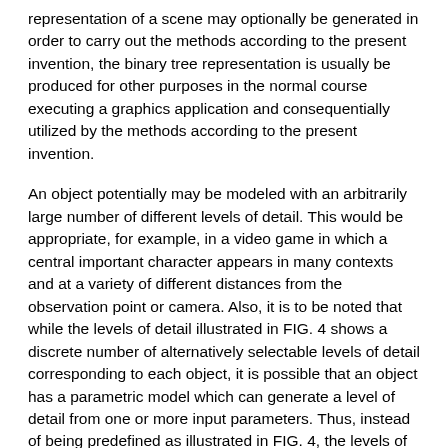representation of a scene may optionally be generated in order to carry out the methods according to the present invention, the binary tree representation is usually be produced for other purposes in the normal course executing a graphics application and consequentially utilized by the methods according to the present invention.
An object potentially may be modeled with an arbitrarily large number of different levels of detail. This would be appropriate, for example, in a video game in which a central important character appears in many contexts and at a variety of different distances from the observation point or camera. Also, it is to be noted that while the levels of detail illustrated in FIG. 4 shows a discrete number of alternatively selectable levels of detail corresponding to each object, it is possible that an object has a parametric model which can generate a level of detail from one or more input parameters. Thus, instead of being predefined as illustrated in FIG. 4, the levels of detail corresponding to any given object may alternatively be computed on the fly based upon some input parameters indicating the desired level of detail. In this way, the level of detail available for displaying any given object are more numerous,